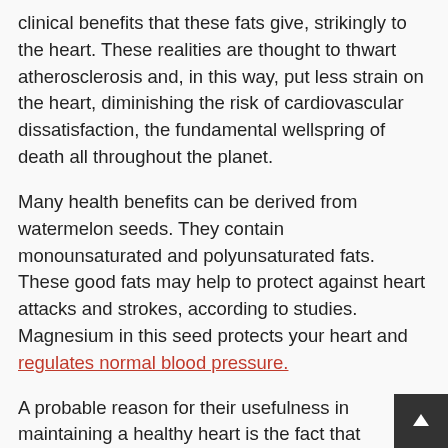clinical benefits that these fats give, strikingly to the heart. These realities are thought to thwart atherosclerosis and, in this way, put less strain on the heart, diminishing the risk of cardiovascular dissatisfaction, the fundamental wellspring of death all throughout the planet.
Many health benefits can be derived from watermelon seeds. They contain monounsaturated and polyunsaturated fats. These good fats may help to protect against heart attacks and strokes, according to studies. Magnesium in this seed protects your heart and regulates normal blood pressure.
A probable reason for their usefulness in maintaining a healthy heart is the fact that watermelon seeds contain anti-inflammatory, antioxidant, and vasodilator properties. Iron is also necessary for the body to carry oxygenated